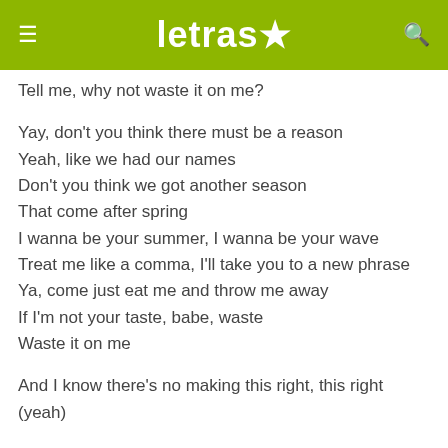letras
Tell me, why not waste it on me?
Yay, don't you think there must be a reason
Yeah, like we had our names
Don't you think we got another season
That come after spring
I wanna be your summer, I wanna be your wave
Treat me like a comma, I'll take you to a new phrase
Ya, come just eat me and throw me away
If I'm not your taste, babe, waste
Waste it on me
And I know there's no making this right, this right (yeah)